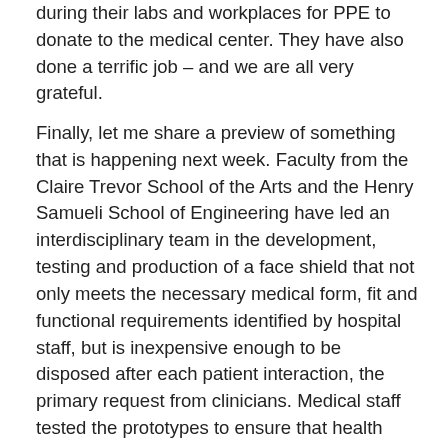during their labs and workplaces for PPE to donate to the medical center. They have also done a terrific job – and we are all very grateful.
Finally, let me share a preview of something that is happening next week. Faculty from the Claire Trevor School of the Arts and the Henry Samueli School of Engineering have led an interdisciplinary team in the development, testing and production of a face shield that not only meets the necessary medical form, fit and functional requirements identified by hospital staff, but is inexpensive enough to be disposed after each patient interaction, the primary request from clinicians. Medical staff tested the prototypes to ensure that health system requirements were met. Upon that success, full-scale production began, and what started out as a small-scale 3D printing production of parts and assembly was transformed into a robust production operation at the University Partner Lab at UCI Beall Applied Innovation. It is expected that a first shipment of 5,000 masks will be delivered to the medical center in a few days.